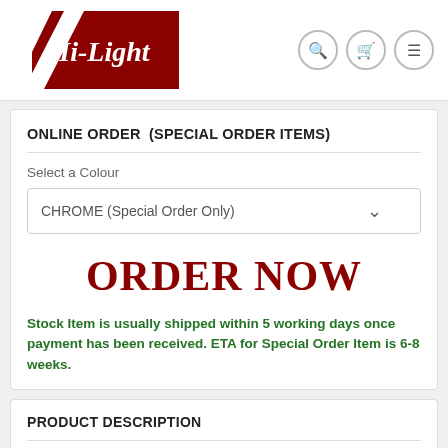[Figure (logo): Hi-Light company logo: dark red/maroon background with white diagonal stripes and italic white serif text 'Hi-Light']
ONLINE ORDER  (SPECIAL ORDER ITEMS)
Select a Colour
CHROME (Special Order Only)
ORDER NOW
Stock Item is usually shipped within 5 working days once payment has been received. ETA for Special Order Item is 6-8 weeks.
PRODUCT DESCRIPTION
SPECIAL ORDER ITEM